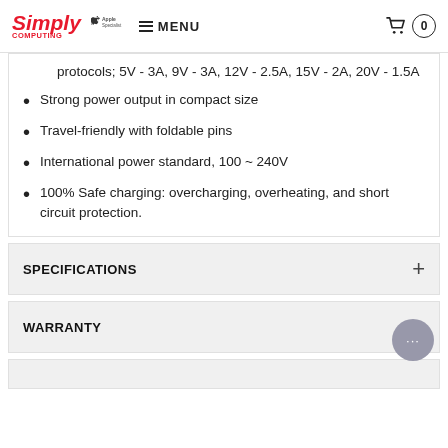Simply Computing | Apple Specialist | MENU | Cart 0
protocols; 5V - 3A, 9V - 3A, 12V - 2.5A, 15V - 2A, 20V - 1.5A
Strong power output in compact size
Travel-friendly with foldable pins
International power standard, 100 ~ 240V
100% Safe charging: overcharging, overheating, and short circuit protection.
SPECIFICATIONS
WARRANTY